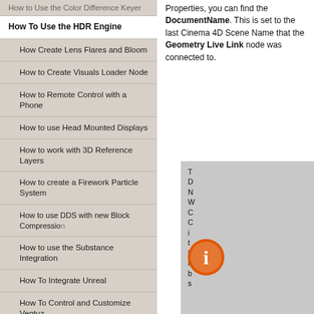How to Use the Color Difference Keyer
How To Use the HDR Engine
How Create Lens Flares and Bloom
How to Create Visuals Loader Node
How to Remote Control with a Phone
How to use Head Mounted Displays
How to work with 3D Reference Layers
How to create a Firework Particle System
How to use DDS with new Block Compression
How to use the Substance Integration
How To Integrate Unreal
How To Control and Customize Ventuz
Reference
Available Nodes
Animation Nodes
Material&Color Nodes
Data Nodes
Properties, you can find the DocumentName. This is set to the last Cinema 4D Scene Name that the Geometry Live Link node was connected to.
[Figure (infographic): Info box with orange 'i' icon and partial text visible on the right side of the page]